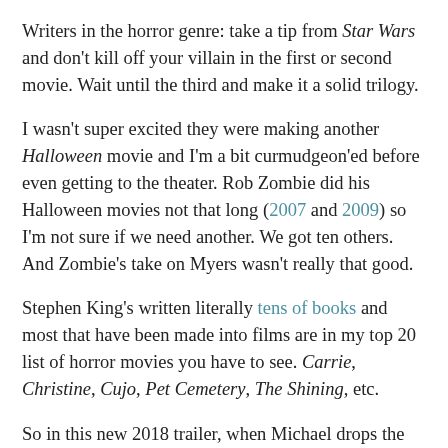Writers in the horror genre: take a tip from Star Wars and don't kill off your villain in the first or second movie. Wait until the third and make it a solid trilogy.
I wasn't super excited they were making another Halloween movie and I'm a bit curmudgeon'ed before even getting to the theater. Rob Zombie did his Halloween movies not that long (2007 and 2009) so I'm not sure if we need another. We got ten others. And Zombie's take on Myers wasn't really that good.
Stephen King's written literally tens of books and most that have been made into films are in my top 20 list of horror movies you have to see. Carrie, Christine, Cujo, Pet Cemetery, The Shining, etc.
So in this new 2018 trailer, when Michael drops the teeth over the bathroom stall door, I got the feeling he did this as a fear tactic. A way to scare his victim. Pleasurably. One of the great things about the original two Halloween